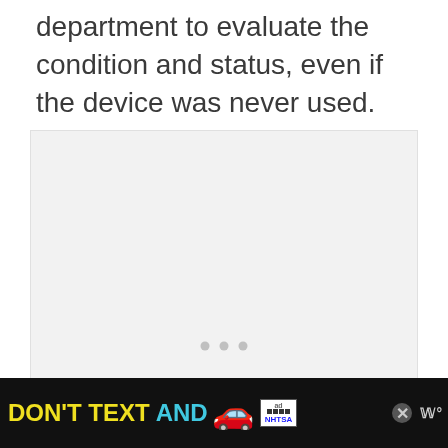department to evaluate the condition and status, even if the device was never used.
[Figure (other): Large light gray placeholder image area with three small gray dots centered near the lower middle portion, indicating a loading or empty image state.]
[Figure (other): Advertisement banner at the bottom of the page. Black background with yellow text 'DON'T TEXT AND' in cyan, a red cartoon car emoji, an 'ad' badge with NHTSA branding, a close button (X), and a 'W' logo watermark on the right.]